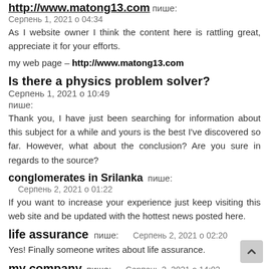http://www.matong13.com пише: Серпень 1, 2021 о 04:34
As I website owner I think the content here is rattling great, appreciate it for your efforts.
my web page – http://www.matong13.com
Is there a physics problem solver? пише: Серпень 1, 2021 о 10:49
пише:
Thank you, I have just been searching for information about this subject for a while and yours is the best I've discovered so far. However, what about the conclusion? Are you sure in regards to the source?
conglomerates in Srilanka пише: Серпень 2, 2021 о 01:22
If you want to increase your experience just keep visiting this web site and be updated with the hottest news posted here.
life assurance пише: Серпень 2, 2021 о 02:20
Yes! Finally someone writes about life assurance.
my company пише: Серпень 2, 2021 о 14:02